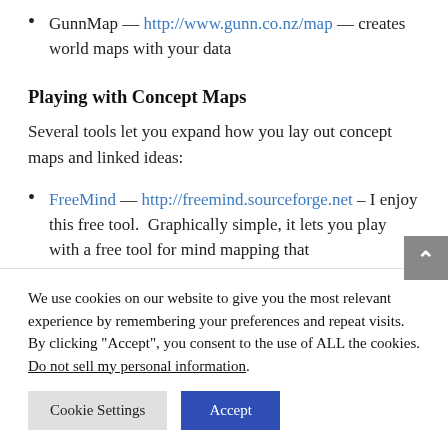GunnMap — http://www.gunn.co.nz/map — creates world maps with your data
Playing with Concept Maps
Several tools let you expand how you lay out concept maps and linked ideas:
FreeMind — http://freemind.sourceforge.net – I enjoy this free tool. Graphically simple, it lets you play with a free tool for mind mapping that
We use cookies on our website to give you the most relevant experience by remembering your preferences and repeat visits. By clicking “Accept”, you consent to the use of ALL the cookies.
Do not sell my personal information.